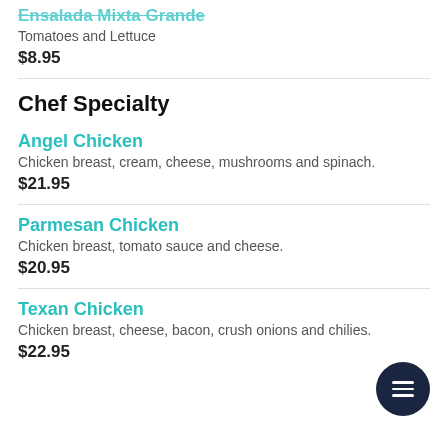Ensalada Mixta Grande
Tomatoes and Lettuce
$8.95
Chef Specialty
Angel Chicken
Chicken breast, cream, cheese, mushrooms and spinach.
$21.95
Parmesan Chicken
Chicken breast, tomato sauce and cheese.
$20.95
Texan Chicken
Chicken breast, cheese, bacon, crush onions and chilies.
$22.95